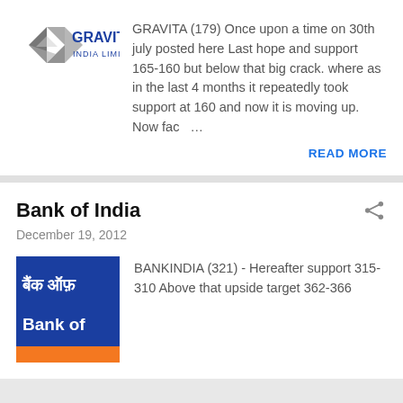[Figure (logo): Gravita India Limited company logo with diamond/arrow shape and blue text]
GRAVITA (179) Once upon a time on 30th july posted here Last hope and support 165-160 but below that big crack. where as in the last 4 months it repeatedly took support at 160 and now it is moving up. Now fac ...
READ MORE
Bank of India
December 19, 2012
[Figure (logo): Bank of India logo - blue square with Hindi and English text 'बैंक ऑफ़ Bank of' with orange stripe at bottom]
BANKINDIA (321) - Hereafter support 315-310 Above that upside target 362-366